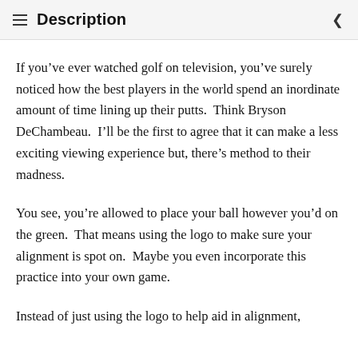Description
If you’ve ever watched golf on television, you’ve surely noticed how the best players in the world spend an inordinate amount of time lining up their putts.  Think Bryson DeChambeau.  I’ll be the first to agree that it can make a less exciting viewing experience but, there’s method to their madness.
You see, you’re allowed to place your ball however you’d on the green.  That means using the logo to make sure your alignment is spot on.  Maybe you even incorporate this practice into your own game.
Instead of just using the logo to help aid in alignment,